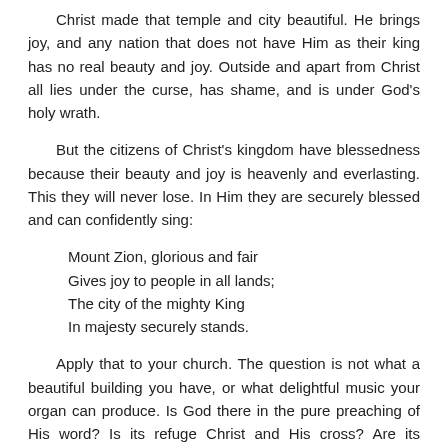Christ made that temple and city beautiful. He brings joy, and any nation that does not have Him as their king has no real beauty and joy. Outside and apart from Christ all lies under the curse, has shame, and is under God's holy wrath.
But the citizens of Christ's kingdom have blessedness because their beauty and joy is heavenly and everlasting. This they will never lose. In Him they are securely blessed and can confidently sing:
Mount Zion, glorious and fair
Gives joy to people in all lands;
The city of the mighty King
In majesty securely stands.
Apply that to your church. The question is not what a beautiful building you have, or what delightful music your organ can produce. Is God there in the pure preaching of His word? Is its refuge Christ and His cross? Are its members spiritually beautiful, because they have been born again and the Spirit clothes